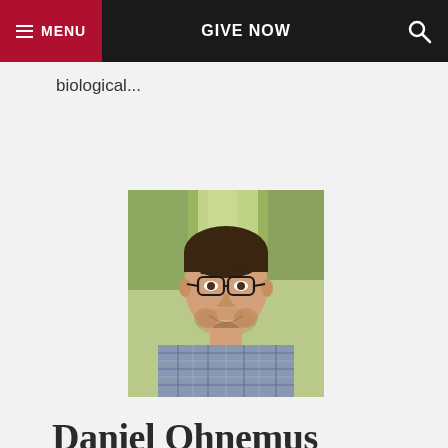MENU   GIVE NOW   [search icon]
biological...
[Figure (photo): Headshot of a smiling man with dark hair, beard, and glasses wearing a plaid shirt, photographed outdoors with green trees in background]
Daniel Ohnemus